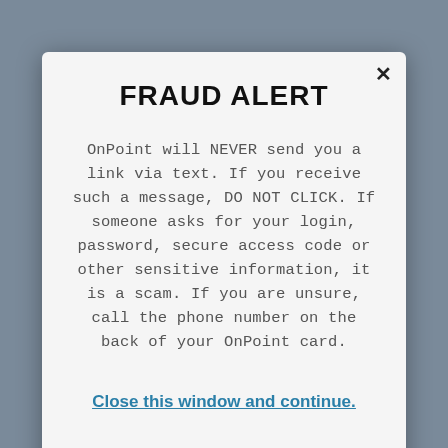FRAUD ALERT
OnPoint will NEVER send you a link via text. If you receive such a message, DO NOT CLICK. If someone asks for your login, password, secure access code or other sensitive information, it is a scam. If you are unsure, call the phone number on the back of your OnPoint card.
Close this window and continue.